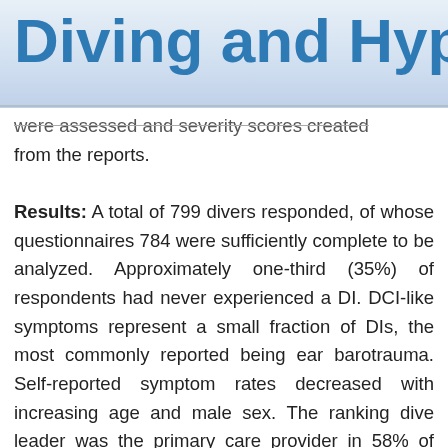Diving and Hyperba
were assessed and severity scores created from the reports.
Results: A total of 799 divers responded, of whose questionnaires 784 were sufficiently complete to be analyzed. Approximately one-third (35%) of respondents had never experienced a DI. DCI-like symptoms represent a small fraction of DIs, the most commonly reported being ear barotrauma. Self-reported symptom rates decreased with increasing age and male sex. The ranking dive leader was the primary care provider in 58% of reports and 32% of injured divers never sought help. Management decisions (first aid and/or